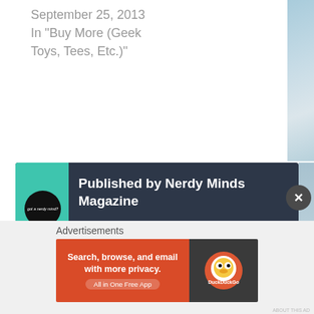September 25, 2013
In "Buy More (Geek Toys, Tees, Etc.)"
Published by Nerdy Minds Magazine
Got a nerdy mind? Us too! © Nerdy Minds Magazine Official Site      THE magazine where thousands of nerdy minds come together! Convention booking, celeb interviews, geek news, reviews, deals, and more!
View all posts by Nerdy Minds
Advertisements
[Figure (screenshot): DuckDuckGo advertisement banner: left side orange with text 'Search, browse, and email with more privacy. All in One Free App', right side dark with DuckDuckGo logo]